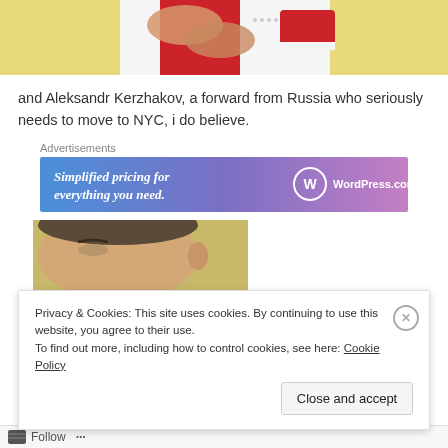[Figure (photo): Cropped photo showing hands grabbing a red and white sports jersey/shirt]
and Aleksandr Kerzhakov, a forward from Russia who seriously needs to move to NYC, i do believe.
Advertisements
[Figure (infographic): WordPress.com advertisement banner: 'Simplified pricing for everything you need.' with WordPress.com logo on blue-to-purple gradient background]
[Figure (photo): Close-up photo of a young man's face, slightly smiling]
Privacy & Cookies: This site uses cookies. By continuing to use this website, you agree to their use.
To find out more, including how to control cookies, see here: Cookie Policy
Close and accept
Follow